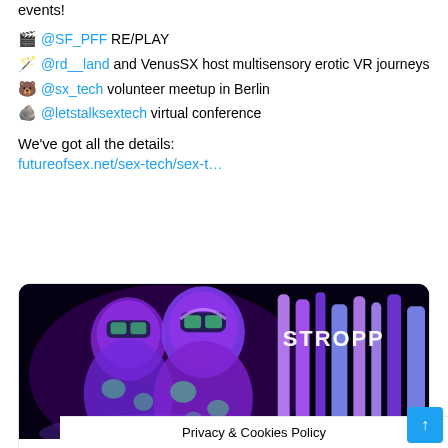events!
🎬 @SF_PFF RE/PLAY
🪄 @rd__land and VenusSX host multisensory erotic VR journeys
🐻 @sx_tech volunteer meetup in Berlin
🪨 @letstalksextech virtual conference
We've got all the details:
futureofsex.net/sex-tech/sex-t…
[Figure (illustration): Dark neon-lit artistic illustration showing two figures wearing VR headsets with purple and green tones, alongside vertical glowing stripes spelling STROPP]
futureofsex.net
Sex Tech Conferences, Adult Expos, Sex Hackathons, and Virtual Even…
Privacy & Cookies Policy